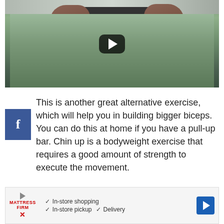[Figure (photo): Video thumbnail showing two hands gripping a pull-up bar, with a YouTube-style play button overlay. Green/outdoor background.]
This is another great alternative exercise, which will help you in building bigger biceps. You can do this at home if you have a pull-up bar. Chin up is a bodyweight exercise that requires a good amount of strength to execute the movement.
If you are a beginner then this might not be the best exercise for you. You should do dumbbell
[Figure (infographic): Advertisement banner for Mattress Firm showing: In-store shopping, In-store pickup, Delivery checkmarks, with logo and navigation arrow icon.]